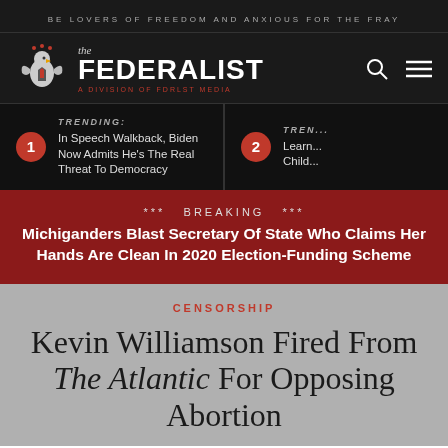BE LOVERS OF FREEDOM AND ANXIOUS FOR THE FRAY
[Figure (logo): The Federalist logo with eagle emblem and tagline: the FEDERALIST, A DIVISION OF FDRLST MEDIA]
TRENDING: In Speech Walkback, Biden Now Admits He's The Real Threat To Democracy
TREN... Learn... Child...
*** BREAKING *** Michiganders Blast Secretary Of State Who Claims Her Hands Are Clean In 2020 Election-Funding Scheme
CENSORSHIP
Kevin Williamson Fired From The Atlantic For Opposing Abortion